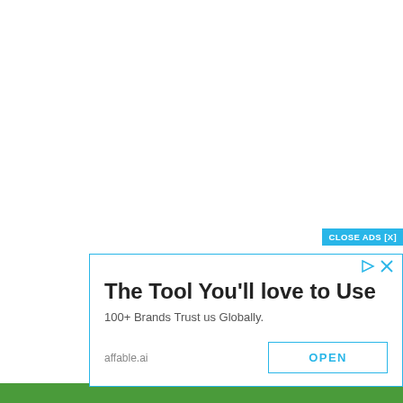[Figure (screenshot): Advertisement banner overlay on a white page. Contains a cyan 'CLOSE ADS [X]' button at top right, small cyan play and X icons, bold headline 'The Tool You'll love to Use', subtitle '100+ Brands Trust us Globally.', domain label 'affable.ai', and a cyan-outlined 'OPEN' button. A green bar runs along the bottom of the page.]